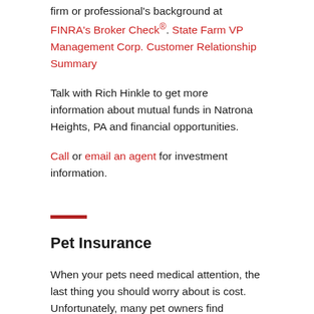firm or professional's background at FINRA's Broker Check®. State Farm VP Management Corp. Customer Relationship Summary
Talk with Rich Hinkle to get more information about mutual funds in Natrona Heights, PA and financial opportunities.
Call or email an agent for investment information.
Pet Insurance
When your pets need medical attention, the last thing you should worry about is cost. Unfortunately, many pet owners find themselves facing tough decisions about their dog or cat's care. We're here to help. State Farm